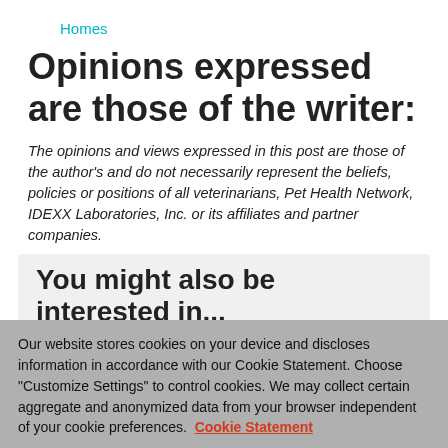Homes
Opinions expressed are those of the writer:
The opinions and views expressed in this post are those of the author's and do not necessarily represent the beliefs, policies or positions of all veterinarians, Pet Health Network, IDEXX Laboratories, Inc. or its affiliates and partner companies.
You might also be interested in...
Honoring Dr. Sophia Yin
Dog Saves Owner from Charging Moose
Our website stores cookies on your device and discloses information in accordance with our Cookie Statement. Choose "Customize Settings" to control cookies. We may collect certain aggregate and anonymized data from your browser independent of your cookie preferences. Cookie Statement